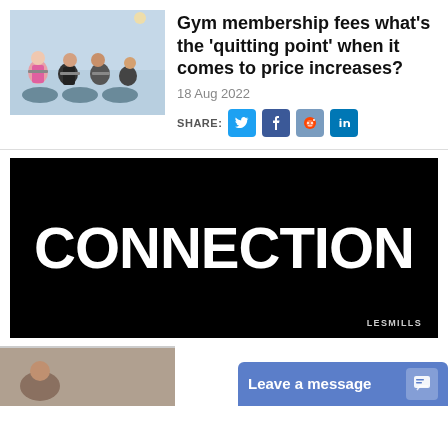[Figure (photo): People in a gym class riding stationary bikes in a spin class]
Gym membership fees what's the 'quitting point' when it comes to price increases?
18 Aug 2022
SHARE:
[Figure (infographic): Black banner with bold white text reading CONNECTION and LES MILLS branding in lower right corner]
[Figure (photo): Partial image at bottom of page]
Leave a message